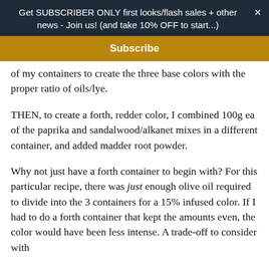Get SUBSCRIBER ONLY first looks/flash sales + other news - Join us! (and take 10% OFF to start...)
Subscribe
of my containers to create the three base colors with the proper ratio of oils/lye.
THEN, to create a forth, redder color, I combined 100g ea of the paprika and sandalwood/alkanet mixes in a different container, and added madder root powder.
Why not just have a forth container to begin with? For this particular recipe, there was just enough olive oil required to divide into the 3 containers for a 15% infused color. If I had to do a forth container that kept the amounts even, the color would have been less intense. A trade-off to consider with